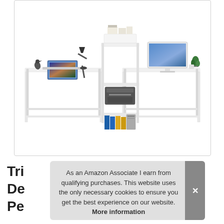[Figure (photo): Two white desks connected by a central shelving unit. Left desk has a laptop, desk lamp, and decorative bird figurine. Center unit has monitor stand with items on top, printer on middle shelf, blue binders and computer tower on bottom shelf. Right desk has an iMac monitor, succulent plant, and cup.]
Tri De Pe
As an Amazon Associate I earn from qualifying purchases. This website uses the only necessary cookies to ensure you get the best experience on our website. More information